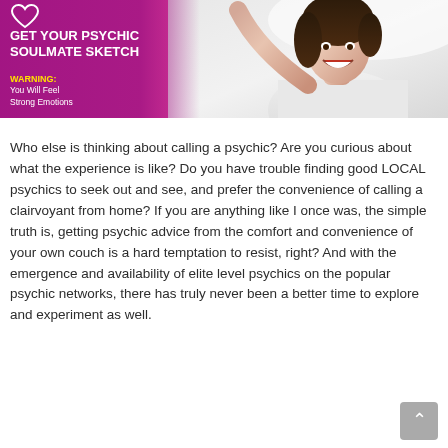[Figure (infographic): Promotional banner for 'Get Your Psychic Soulmate Sketch' with pink/magenta background on left, woman photo on right, heart logo, warning text saying 'You Will Feel Strong Emotions']
Who else is thinking about calling a psychic? Are you curious about what the experience is like? Do you have trouble finding good LOCAL psychics to seek out and see, and prefer the convenience of calling a clairvoyant from home? If you are anything like I once was, the simple truth is, getting psychic advice from the comfort and convenience of your own couch is a hard temptation to resist, right? And with the emergence and availability of elite level psychics on the popular psychic networks, there has truly never been a better time to explore and experiment as well.